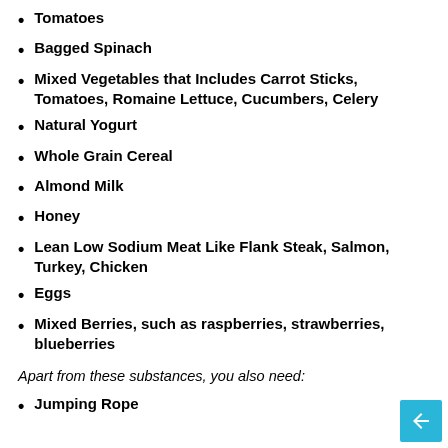Tomatoes
Bagged Spinach
Mixed Vegetables that Includes Carrot Sticks, Tomatoes, Romaine Lettuce, Cucumbers, Celery
Natural Yogurt
Whole Grain Cereal
Almond Milk
Honey
Lean Low Sodium Meat Like Flank Steak, Salmon, Turkey, Chicken
Eggs
Mixed Berries, such as raspberries, strawberries, blueberries
Apart from these substances, you also need:
Jumping Rope